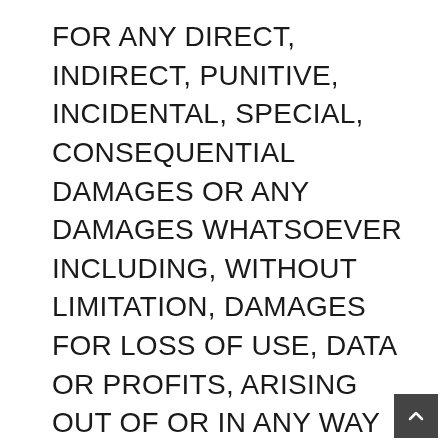FOR ANY DIRECT, INDIRECT, PUNITIVE, INCIDENTAL, SPECIAL, CONSEQUENTIAL DAMAGES OR ANY DAMAGES WHATSOEVER INCLUDING, WITHOUT LIMITATION, DAMAGES FOR LOSS OF USE, DATA OR PROFITS, ARISING OUT OF OR IN ANY WAY CONNECTED WITH THE USE OR PERFORMANCE OF THE SITE, WITH THE DELAY OR INABILITY TO USE THE SITE OR RELATED SERVICES, THE PROVISION OF OR FAILURE TO PROVIDE SERVICES, OR FOR ANY INFORMATION, SOFTWARE, PRODUCTS, SERVICES AND RELATED GRAPHICS OBTAINED THROUGH THE SITE, OR OTHERWISE ARISING OUT OF THE USE OF THE SITE, WHETHER BASED ON CONTRACT, TORT